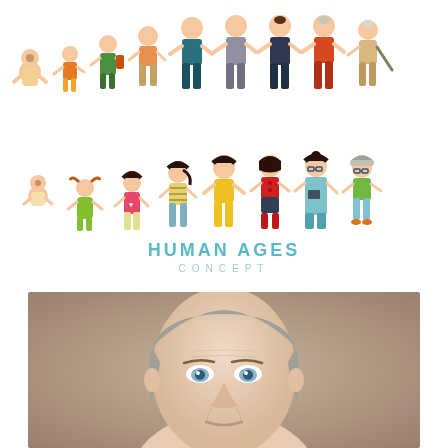[Figure (illustration): Infographic showing human aging stages concept. Top row: male figures from baby to elderly adult in various colored outfits. Bottom row: female figures from baby to elderly woman. Text reads 'HUMAN AGES CONCEPT' in teal/blue letters.]
[Figure (photo): Portrait photo of a middle-aged woman with gray-streaked hair pulled back, light blue eyes, on a tan/beige background. Face centered in lower half of page.]